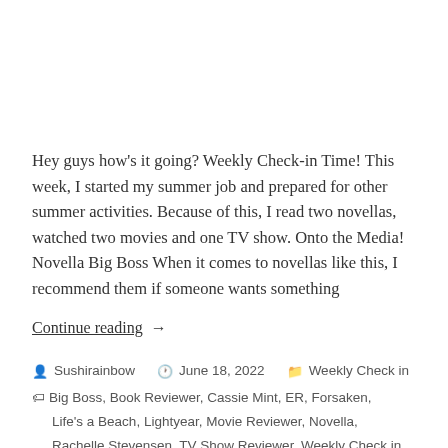Hey guys how's it going? Weekly Check-in Time! This week, I started my summer job and prepared for other summer activities. Because of this, I read two novellas, watched two movies and one TV show. Onto the Media! Novella Big Boss When it comes to novellas like this, I recommend them if someone wants something
Continue reading  →
Sushirainbow   June 18, 2022   Weekly Check in
Big Boss, Book Reviewer, Cassie Mint, ER, Forsaken,
Life's a Beach, Lightyear, Movie Reviewer, Novella,
Rachelle Stevensen, TV Show Reviewer, Weekly Check in